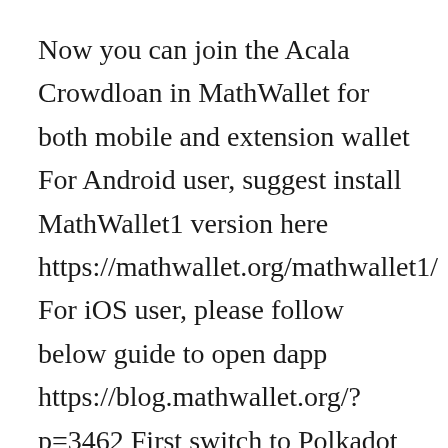Now you can join the Acala Crowdloan in MathWallet for both mobile and extension wallet For Android user, suggest install MathWallet1 version here https://mathwallet.org/mathwallet1/ For iOS user, please follow below guide to open dapp https://blog.mathwallet.org/?p=3462 First switch to Polkadot wallet In the DApp list find Acala Crowdloan app Enter the number of DOT you'd like […]